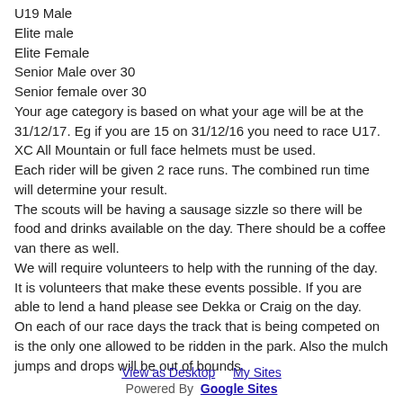U19 Male
Elite male
Elite Female
Senior Male over 30
Senior female over 30
Your age category is based on what your age will be at the 31/12/17. Eg if you are 15 on 31/12/16 you need to race U17.
XC All Mountain or full face helmets must be used.
Each rider will be given 2 race runs. The combined run time will determine your result.
The scouts will be having a sausage sizzle so there will be food and drinks available on the day. There should be a coffee van there as well.
We will require volunteers to help with the running of the day. It is volunteers that make these events possible. If you are able to lend a hand please see Dekka or Craig on the day.
On each of our race days the track that is being competed on is the only one allowed to be ridden in the park. Also the mulch jumps and drops will be out of bounds.
Comments
View as Desktop   My Sites
Powered By  Google Sites